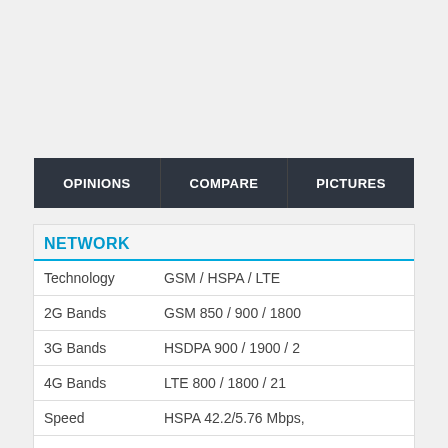|  | OPINIONS | COMPARE | PICTURES |
| --- | --- | --- | --- |
| NETWORK |  |
| --- | --- |
| Technology | GSM / HSPA / LTE |
| 2G Bands | GSM 850 / 900 / 1800 |
| 3G Bands | HSDPA 900 / 1900 / 2 |
| 4G Bands | LTE 800 / 1800 / 21 |
| Speed | HSPA 42.2/5.76 Mbps, |
| GPRS |  |
| EDGE |  |